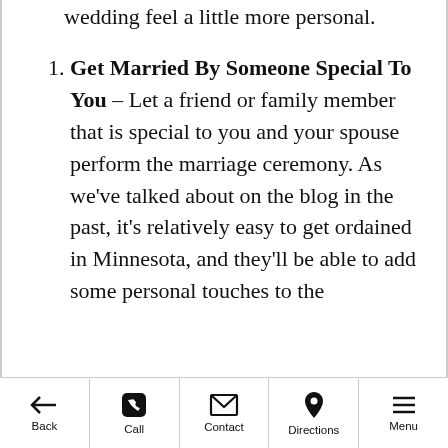wedding feel a little more personal.
Get Married By Someone Special To You – Let a friend or family member that is special to you and your spouse perform the marriage ceremony. As we've talked about on the blog in the past, it's relatively easy to get ordained in Minnesota, and they'll be able to add some personal touches to the
Back | Call | Contact | Directions | Menu